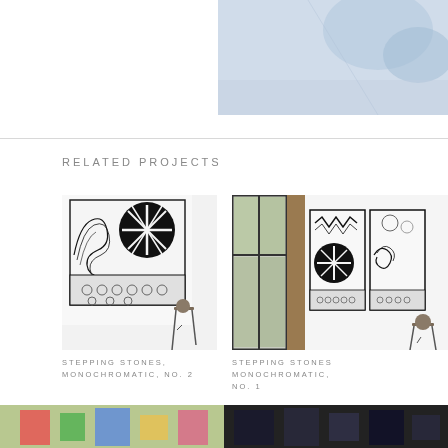[Figure (photo): Partial artwork or abstract painting in blue/grey tones, cropped in upper right corner]
RELATED PROJECTS
[Figure (photo): Black and white abstract artwork on a wall with a stool in front, titled Stepping Stones Monochromatic No. 2]
STEPPING STONES, MONOCHROMATIC, NO. 2
[Figure (photo): Black and white abstract artworks on a wall near a window with a stool, titled Stepping Stones Monochromatic No. 1]
STEPPING STONES MONOCHROMATIC, NO. 1
[Figure (photo): Colorful artwork partially visible at bottom left]
[Figure (photo): Dark abstract artwork partially visible at bottom right]